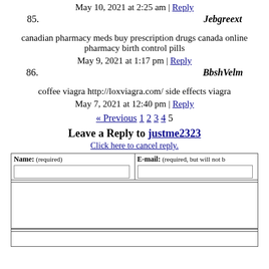May 10, 2021 at 2:25 am | Reply
85. Jebgreext
canadian pharmacy meds buy prescription drugs canada online pharmacy birth control pills
May 9, 2021 at 1:17 pm | Reply
86. BbshVelm
coffee viagra http://loxviagra.com/ side effects viagra
May 7, 2021 at 12:40 pm | Reply
« Previous 1 2 3 4 5
Leave a Reply to justme2323
Click here to cancel reply.
| Name: (required) | E-mail: (required, but will not...) |
| --- | --- |
|  |  |
|  |  |